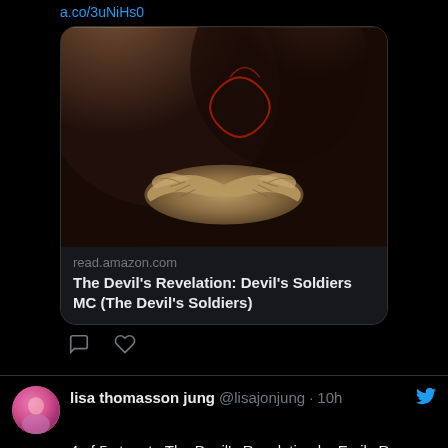a.co/3uNiHs0
[Figure (photo): Book cover image for The Devil's Revelation: Devil's Soldiers MC — dark romantic imagery with angel wings, couple embracing, red tattoo details]
read.amazon.com
The Devil's Revelation: Devil's Soldiers MC (The Devil's Soldiers)
lisa thomasson jung @lisajonjung · 10h
4 of 5 stars to The Devil's Revelation by Emily Rose goodreads.com/review/show/48...
goodreads.com